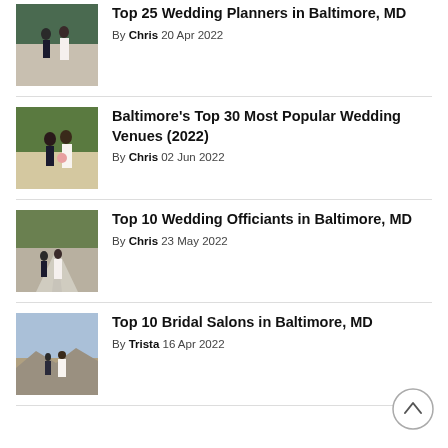Top 25 Wedding Planners in Baltimore, MD
By Chris 20 Apr 2022
[Figure (photo): Wedding couple outdoors with trees in background]
Baltimore's Top 30 Most Popular Wedding Venues (2022)
By Chris 02 Jun 2022
[Figure (photo): Bride and groom kissing in field]
Top 10 Wedding Officiants in Baltimore, MD
By Chris 23 May 2022
[Figure (photo): Couple walking down road in wedding attire]
Top 10 Bridal Salons in Baltimore, MD
By Trista 16 Apr 2022
[Figure (photo): Couple standing on rocky hillside in wedding attire]